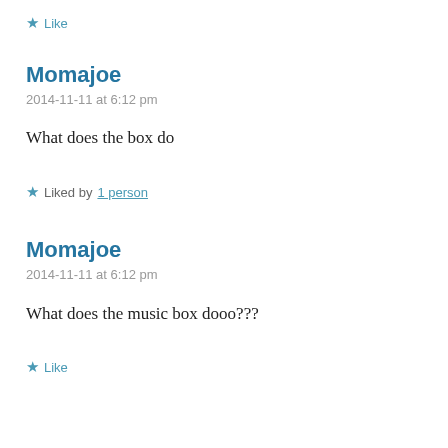★ Like
Momajoe
2014-11-11 at 6:12 pm
What does the box do
★ Liked by 1 person
Momajoe
2014-11-11 at 6:12 pm
What does the music box dooo???
★ Like